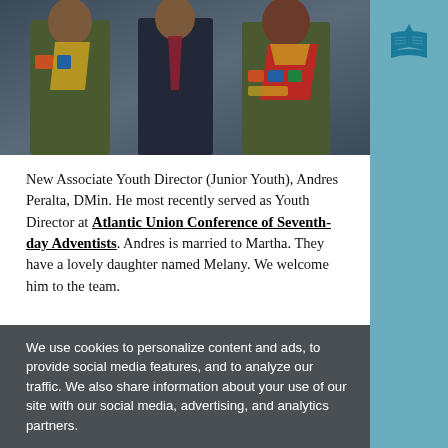[Figure (photo): Three people in Pathfinder/scout uniforms posing together. Two are wearing olive green military-style uniforms with yellow scarves and badges. One in the center wears a dark suit with a tie.]
New Associate Youth Director (Junior Youth), Andres Peralta, DMin. He most recently served as Youth Director at Atlantic Union Conference of Seventh-day Adventists. Andres is married to Martha. They have a lovely daughter named Melany. We welcome him to the team.
We use cookies to personalize content and ads, to provide social media features, and to analyze our traffic. We also share information about your use of our site with our social media, advertising, and analytics partners.
[Figure (logo): Seventh-day Adventist Church logo - a flame/book symbol in teal/blue on a light blue background]